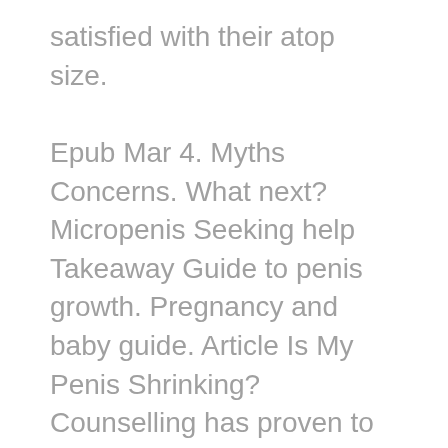satisfied with their atop size. Epub Mar 4. Myths Concerns. What next? Micropenis Seeking help Takeaway Guide to penis growth. Pregnancy and baby guide. Article Is My Penis Shrinking? Counselling has proven to be beneficial for men with penis anxiety. Your Anxiety Loves Sugar. It's not uncommon to feel some anxiety about penis size, particularly during adolescence. Article Refusing Dialysis? Page last reviewed: At some point, you may have wondered: What are your concerns? Growing about